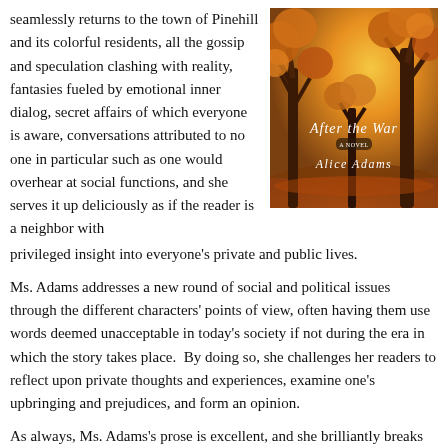seamlessly returns to the town of Pinehill and its colorful residents, all the gossip and speculation clashing with reality, fantasies fueled by emotional inner dialog, secret affairs of which everyone is aware, conversations attributed to no one in particular such as one would overhear at social functions, and she serves it up deliciously as if the reader is a neighbor with privileged insight into everyone's private and public lives.
[Figure (illustration): Book cover of 'After the War' by Alice Adams. Shows autumn trees with golden and orange foliage against a warm amber sky. The title 'After the War' appears in white serif text with a subtitle 'a novel' below it, and 'Alice Adams' in white serif text at the bottom.]
Ms. Adams addresses a new round of social and political issues through the different characters' points of view, often having them use words deemed unacceptable in today's society if not during the era in which the story takes place.  By doing so, she challenges her readers to reflect upon private thoughts and experiences, examine one's upbringing and prejudices, and form an opinion.
As always, Ms. Adams's prose is excellent, and she brilliantly breaks the